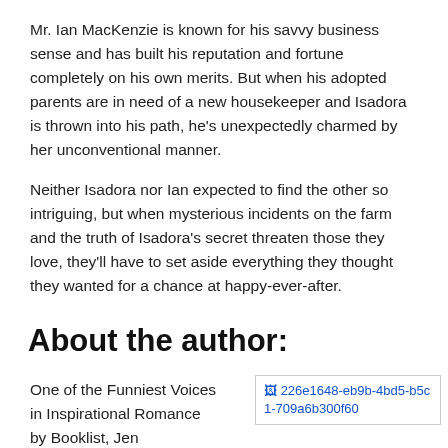Mr. Ian MacKenzie is known for his savvy business sense and has built his reputation and fortune completely on his own merits. But when his adopted parents are in need of a new housekeeper and Isadora is thrown into his path, he's unexpectedly charmed by her unconventional manner.
Neither Isadora nor Ian expected to find the other so intriguing, but when mysterious incidents on the farm and the truth of Isadora's secret threaten those they love, they'll have to set aside everything they thought they wanted for a chance at happy-ever-after.
About the author:
One of the Funniest Voices in Inspirational Romance by Booklist, Jen
[Figure (photo): Author photo placeholder image with id 226e1648-eb9b-4bd5-b5c1-709a6b300f60]